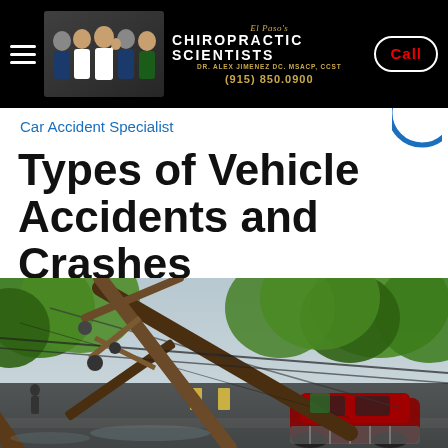El Paso's Chiropractic Scientists | Dr. Alex Jimenez DC. MSACP, CCST | (915) 850.0900 | Call
Car Accident Specialist
Types of Vehicle Accidents and Crashes
[Figure (photo): Overturned red vehicle on a wet road with a large utility/electrical pole fallen on top of it, surrounded by trees and wires strewn across the roadway.]